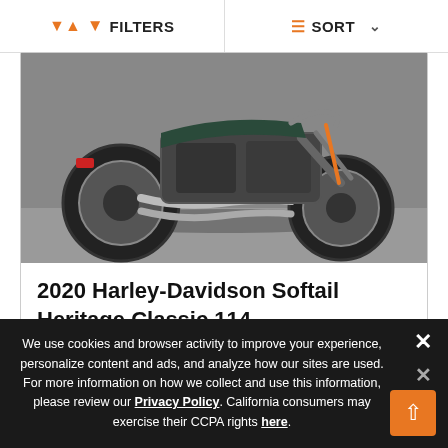FILTERS   SORT
[Figure (photo): Motorcycle photo showing 2020 Harley-Davidson Softail Heritage Classic 114 from rear/side angle on pavement]
2020 Harley-Davidson Softail Heritage Classic 114
$20,499
Related Article
We use cookies and browser activity to improve your experience, personalize content and ads, and analyze how our sites are used. For more information on how we collect and use this information, please review our Privacy Policy. California consumers may exercise their CCPA rights here.